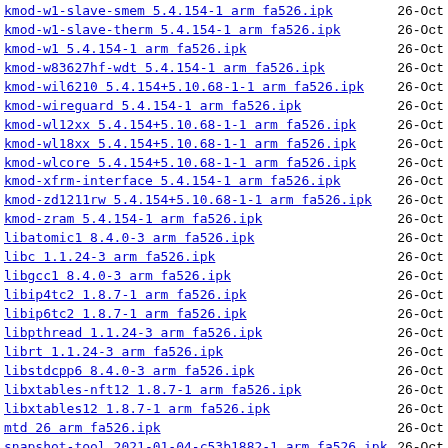kmod-w1-slave-smem 5.4.154-1 arm fa526.ipk  26-Oct
kmod-w1-slave-therm 5.4.154-1 arm fa526.ipk  26-Oct
kmod-w1 5.4.154-1 arm fa526.ipk  26-Oct
kmod-w83627hf-wdt 5.4.154-1 arm fa526.ipk  26-Oct
kmod-wil6210 5.4.154+5.10.68-1-1 arm fa526.ipk  26-Oct
kmod-wireguard 5.4.154-1 arm fa526.ipk  26-Oct
kmod-wl12xx 5.4.154+5.10.68-1-1 arm fa526.ipk  26-Oct
kmod-wl18xx 5.4.154+5.10.68-1-1 arm fa526.ipk  26-Oct
kmod-wlcore 5.4.154+5.10.68-1-1 arm fa526.ipk  26-Oct
kmod-xfrm-interface 5.4.154-1 arm fa526.ipk  26-Oct
kmod-zd1211rw 5.4.154+5.10.68-1-1 arm fa526.ipk  26-Oct
kmod-zram 5.4.154-1 arm fa526.ipk  26-Oct
libatomic1 8.4.0-3 arm fa526.ipk  26-Oct
libc 1.1.24-3 arm fa526.ipk  26-Oct
libgcc1 8.4.0-3 arm fa526.ipk  26-Oct
libip4tc2 1.8.7-1 arm fa526.ipk  26-Oct
libip6tc2 1.8.7-1 arm fa526.ipk  26-Oct
libpthread 1.1.24-3 arm fa526.ipk  26-Oct
librt 1.1.24-3 arm fa526.ipk  26-Oct
libstdcpp6 8.4.0-3 arm fa526.ipk  26-Oct
libxtables-nft12 1.8.7-1 arm fa526.ipk  26-Oct
libxtables12 1.8.7-1 arm fa526.ipk  26-Oct
mtd 26 arm fa526.ipk  26-Oct
snapshot-tool 2021-01-04-c53b1882-1 arm fa526.ipk  26-Oct
spidev-test 5.4.154-5.4.154 arm fa526.ipk  26-Oct
uboot-envtools 2021.01-10 arm fa526.ipk  26-Oct
umbim 2019-09-11-184b707d-1 arm fa526.ipk  26-Oct
uqmi 2020-11-22-0a19b5b7-3 arm fa526.ipk  26-Oct